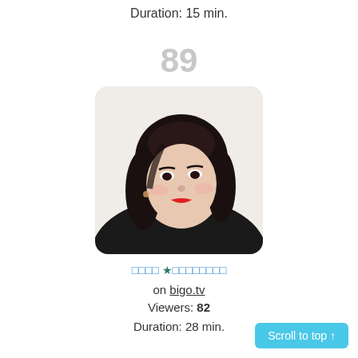Duration: 15 min.
89
[Figure (photo): Profile photo of a young woman with dark wavy hair, wearing a black top, with red lipstick, posed against a light background. The image is displayed in a rounded rectangle.]
□□□□ ★□□□□□□□□ on bigo.tv
Viewers: 82
Duration: 28 min.
Scroll to top ↑